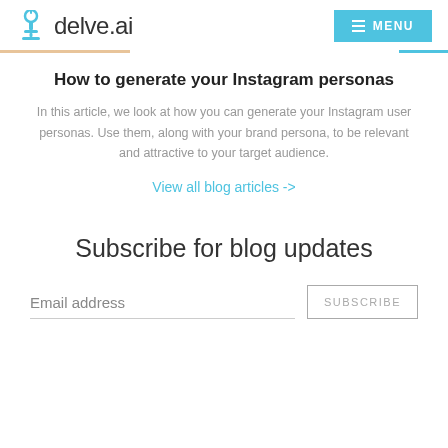delve.ai — MENU
How to generate your Instagram personas
In this article, we look at how you can generate your Instagram user personas. Use them, along with your brand persona, to be relevant and attractive to your target audience.
View all blog articles ->
Subscribe for blog updates
Email address   SUBSCRIBE